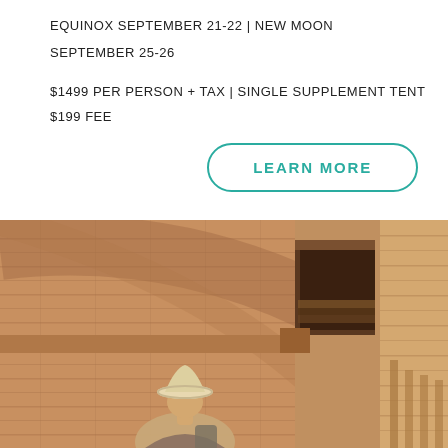EQUINOX SEPTEMBER 21-22 | NEW MOON SEPTEMBER 25-26
$1499 PER PERSON + TAX | SINGLE SUPPLEMENT TENT $199 FEE
[Figure (other): Button with teal rounded border reading LEARN MORE]
[Figure (photo): Person wearing a white hat looking up at ancient stone brick ruins wall, Chaco Canyon style architecture, warm sandy brown tones]